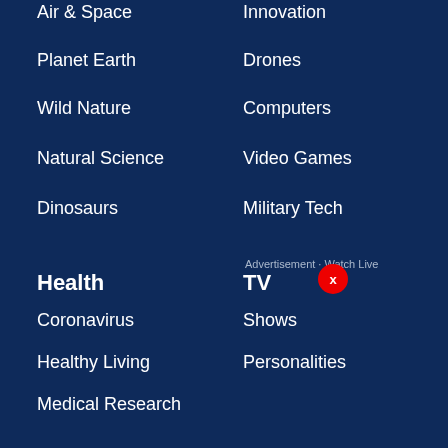Air & Space
Planet Earth
Wild Nature
Natural Science
Dinosaurs
Innovation
Drones
Computers
Video Games
Military Tech
Health
Coronavirus
Healthy Living
Medical Research
Mental Health
Cancer
Heart Health
Children's Health
TV
Shows
Personalities
Watch Live
Full Episodes
Show Clips
News Clips
About
Contact Us
Careers
Fox Around the World
Other
Fox Weather
Fox Nation
Fox News Shop